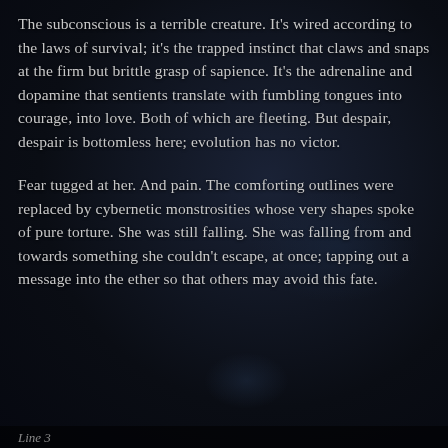The subconscious is a terrible creature. It's wired according to the laws of survival; it's the trapped instinct that claws and snaps at the firm but brittle grasp of sapience. It's the adrenaline and dopamine that sentients translate with fumbling tongues into courage, into love. Both of which are fleeting. But despair, despair is bottomless here; evolution has no victor.
Fear tugged at her. And pain. The comforting outlines were replaced by cybernetic monstrosities whose very shapes spoke of pure torture. She was still falling. She was falling from and towards something she couldn't escape, at once; tapping out a message into the ether so that others may avoid this fate.
Line 3